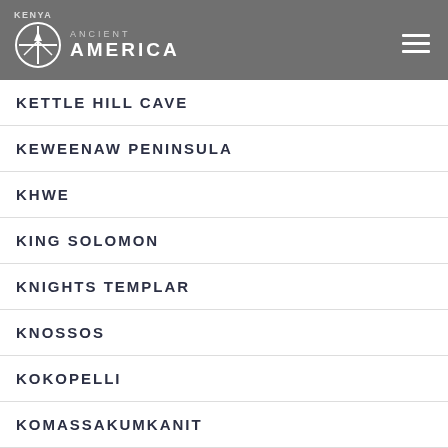KENYA | Ancient America
KETTLE HILL CAVE
KEWEENAW PENINSULA
KHWE
KING SOLOMON
KNIGHTS TEMPLAR
KNOSSOS
KOKOPELLI
KOMASSAKUMKANIT
KUBLAI KHAN